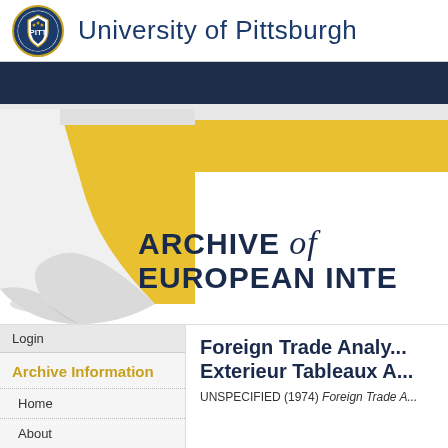University of Pittsburgh
[Figure (logo): University of Pittsburgh circular seal/crest logo in blue and gold]
[Figure (illustration): Dark navy banner strip below the University of Pittsburgh header]
[Figure (illustration): Archive of European Integration hero banner with page curl effect, gold and white stripes, and large text reading ARCHIVE of EUROPEAN INTE...]
Login
Archive Information
Home
About
Foreign Trade Analy... Exterieur Tableaux A...
UNSPECIFIED (1974) Foreign Trade A...